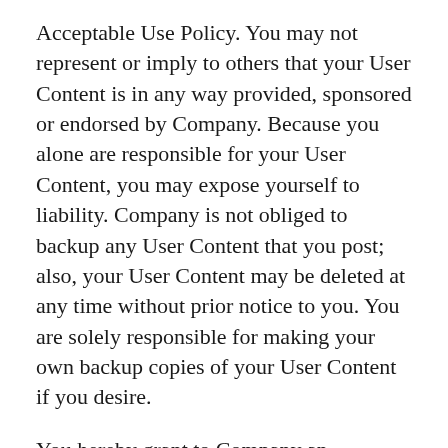Acceptable Use Policy. You may not represent or imply to others that your User Content is in any way provided, sponsored or endorsed by Company. Because you alone are responsible for your User Content, you may expose yourself to liability. Company is not obliged to backup any User Content that you post; also, your User Content may be deleted at any time without prior notice to you. You are solely responsible for making your own backup copies of your User Content if you desire.
You hereby grant to Company an irreversible, nonexclusive, royalty-free and fully paid, worldwide license to reproduce, distribute, publicly display and perform, prepare derivative